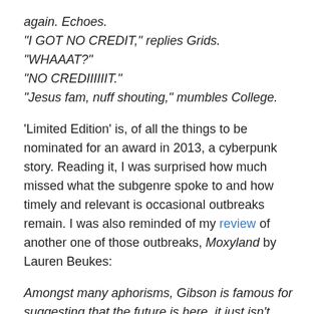again. Echoes.
"I GOT NO CREDIT," replies Grids.
"WHAAAT?"
"NO CREDIIIIIIT."
"Jesus fam, nuff shouting," mumbles College.
'Limited Edition' is, of all the things to be nominated for an award in 2013, a cyberpunk story. Reading it, I was surprised how much missed what the subgenre spoke to and how timely and relevant is occasional outbreaks remain. I was also reminded of my review of another one of those outbreaks, Moxyland by Lauren Beukes:
Amongst many aphorisms, Gibson is famous for suggesting that the future is here, it just isn't evenly distributed. This is a great soundbite but is really just another way of saying that wealth is not evenly distributed.